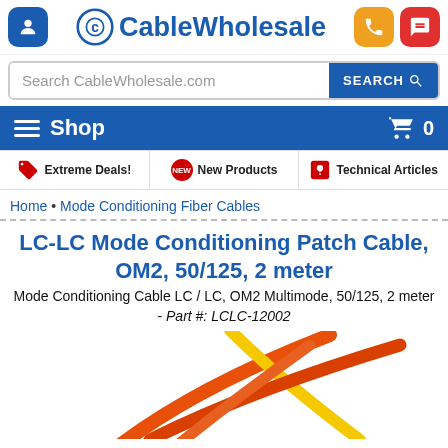CableWholesale
Search CableWholesale.com
Shop  0
Extreme Deals!  New Products  Technical Articles
Home • Mode Conditioning Fiber Cables
LC-LC Mode Conditioning Patch Cable, OM2, 50/125, 2 meter
Mode Conditioning Cable LC / LC, OM2 Multimode, 50/125, 2 meter - Part #: LCLC-12002
[Figure (photo): Orange and yellow fiber optic cables crossing in an X pattern]